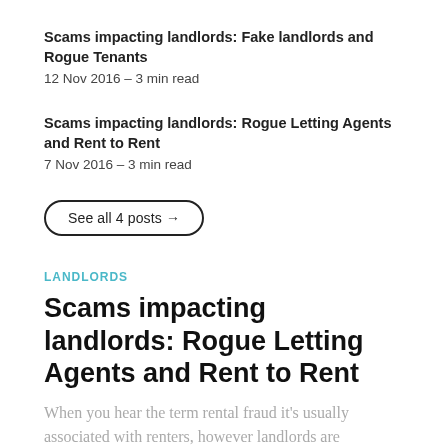Scams impacting landlords: Fake landlords and Rogue Tenants
12 Nov 2016 – 3 min read
Scams impacting landlords: Rogue Letting Agents and Rent to Rent
7 Nov 2016 – 3 min read
See all 4 posts →
LANDLORDS
Scams impacting landlords: Rogue Letting Agents and Rent to Rent
When you hear the term rental fraud it's usually associated with renters, however landlords are increasingly the victims too. In a
PAUL MUNDAY
7 NOV 2016 • 3 MIN READ